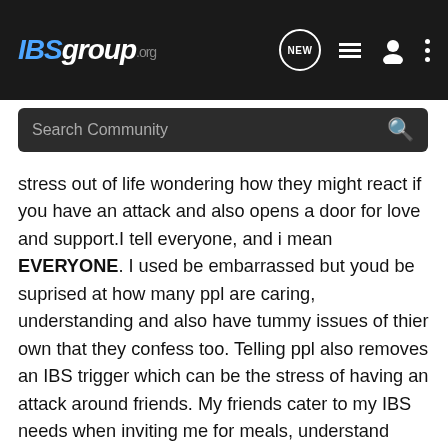IBSgroup.org
Search Community
stress out of life wondering how they might react if you have an attack and also opens a door for love and support.I tell everyone, and i mean EVERYONE. I used be embarrassed but youd be suprised at how many ppl are caring, understanding and also have tummy issues of thier own that they confess too. Telling ppl also removes an IBS trigger which can be the stress of having an attack around friends. My friends cater to my IBS needs when inviting me for meals, understand when i run off to the toilet, hug me when i cry and never judge if i have to go home.I tell ppl that i have IBS, which is a tummy thing that can make me feel really sick and become really good friends with the toliet lol.... ive never had someone reject me because of it or tell me im grose. I want to wish you all well with this cause i know relationships and IBS can be hard, esp telling someone about it. But remember this, you are all beautiful ppl and if